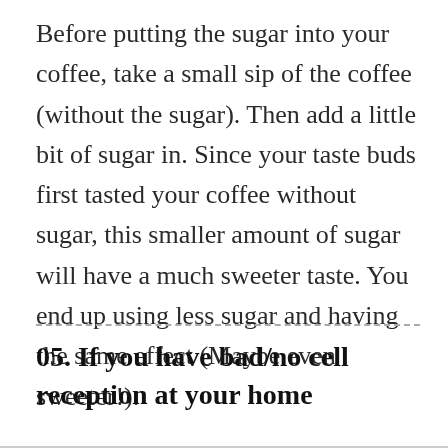Before putting the sugar into your coffee, take a small sip of the coffee (without the sugar). Then add a little bit of sugar in. Since your taste buds first tasted your coffee without sugar, this smaller amount of sugar will have a much sweeter taste. You end up using less sugar and having the same effect (Maybe even sweeter!).
05. If you have bad/no cell reception at your home